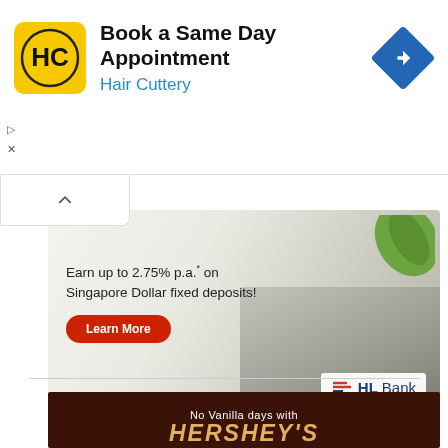[Figure (screenshot): Hair Cuttery advertisement banner: logo (HC in yellow square), 'Book a Same Day Appointment' headline, 'Hair Cuttery' subtext in blue, navigation icon on right]
[Figure (screenshot): HL Bank advertisement image: 'Earn up to 2.75% p.a.* on Singapore Dollar fixed deposits!' with red Learn More button, green leaf, HL Bank logo bottom right]
HL Bank offering up to 2.75% p.a. on Singapore Dollar fixed deposits till 31 Dec 2022
[Figure (screenshot): Hershey's advertisement banner with dark brown background showing 'No Vanilla days with HERSHEY'S' text]